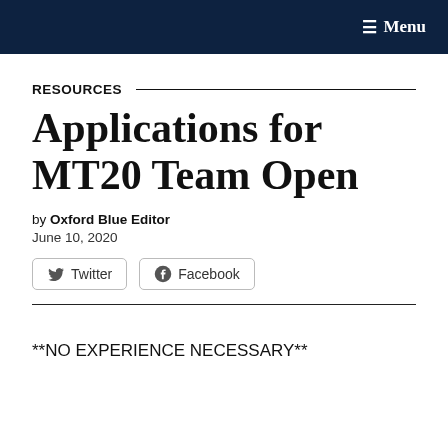≡ Menu
RESOURCES
Applications for MT20 Team Open
by Oxford Blue Editor
June 10, 2020
[Figure (other): Social share buttons: Twitter and Facebook]
**NO EXPERIENCE NECESSARY**